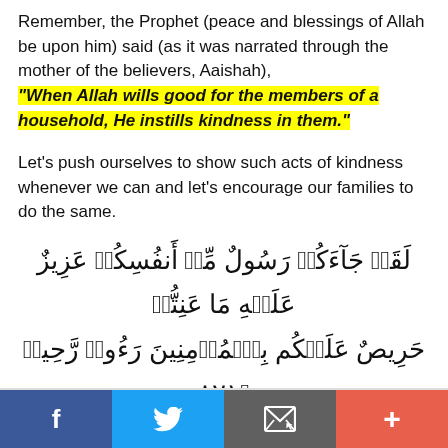Remember, the Prophet (peace and blessings of Allah be upon him) said (as it was narrated through the mother of the believers, Aaishah), "When Allah wills good for the members of a household, He instills kindness in them."
Let's push ourselves to show such acts of kindness whenever we can and let's encourage our families to do the same.
[Figure (other): Arabic Quranic verse in decorative Arabic script, two lines, right-to-left text]
f  [Twitter bird]  [Envelope icon]  +